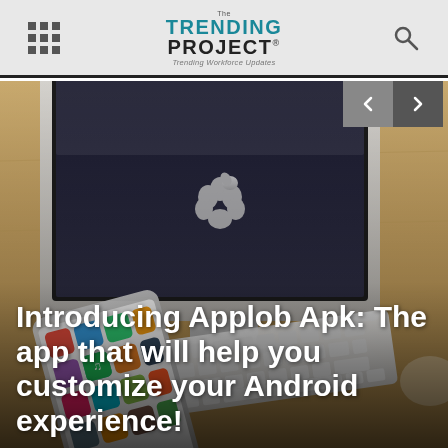The Trending Project — Trending Workforce Updates
[Figure (photo): Photo of an Apple iMac desktop computer, Apple wireless keyboard, and a smartphone displaying colorful app icons, arranged on a wooden desk surface. The image serves as a hero banner background.]
Introducing Applob Apk: The app that will help you customize your Android experience!